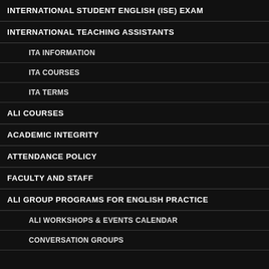INTERNATIONAL STUDENT ENGLISH (ISE) EXAM
INTERNATIONAL TEACHING ASSISTANTS
ITA INFORMATION
ITA COURSES
ITA TERMS
ALI COURSES
ACADEMIC INTEGRITY
ATTENDANCE POLICY
FACULTY AND STAFF
ALI GROUP PROGRAMS FOR ENGLISH PRACTICE
ALI WORKSHOPS & EVENTS CALENDAR
CONVERSATION GROUPS